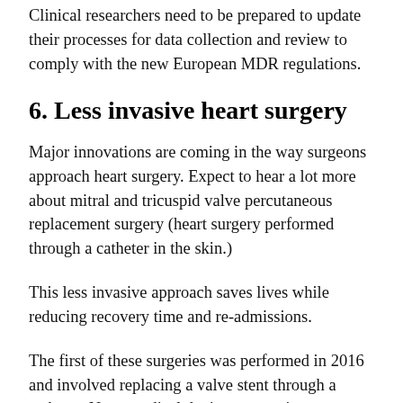Clinical researchers need to be prepared to update their processes for data collection and review to comply with the new European MDR regulations.
6. Less invasive heart surgery
Major innovations are coming in the way surgeons approach heart surgery. Expect to hear a lot more about mitral and tricuspid valve percutaneous replacement surgery (heart surgery performed through a catheter in the skin.)
This less invasive approach saves lives while reducing recovery time and re-admissions.
The first of these surgeries was performed in 2016 and involved replacing a valve stent through a catheter. Now, medical device companies are racing